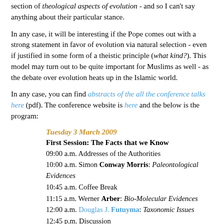section of theological aspects of evolution - and so I can't say anything about their particular stance.
In any case, it will be interesting if the Pope comes out with a strong statement in favor of evolution via natural selection - even if justified in some form of a theistic principle (what kind?). This model may turn out to be quite important for Muslims as well - as the debate over evolution heats up in the Islamic world.
In any case, you can find abstracts of the all the conference talks here (pdf). The conference website is here and the below is the program:
Tuesday 3 March 2009
First Session: The Facts that we Know
09:00 a.m. Addresses of the Authorities
10:00 a.m. Simon Conway Morris: Paleontological Evidences
10:45 a.m. Coffee Break
11:15 a.m. Werner Arber: Bio-Molecular Evidences
12:00 a.m. Douglas J. Futuyma: Taxonomic Issues
12:45 p.m. Discussion